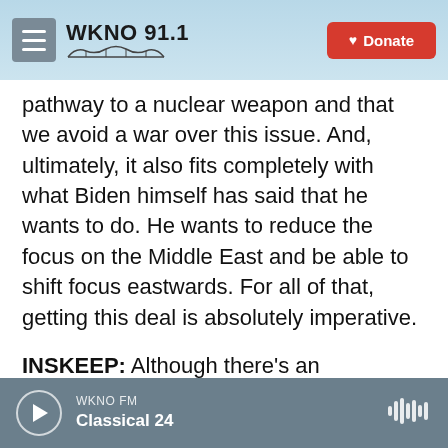WKNO 91.1 | Donate
pathway to a nuclear weapon and that we avoid a war over this issue. And, ultimately, it also fits completely with what Biden himself has said that he wants to do. He wants to reduce the focus on the Middle East and be able to shift focus eastwards. For all of that, getting this deal is absolutely imperative.
INSKEEP: Although there's an interesting detail that has come out of the recent difficulty. Iran, as I understand it, said we don't want talks with the United States mediated by the European Union because we want assurances that it's just going to
WKNO FM | Classical 24